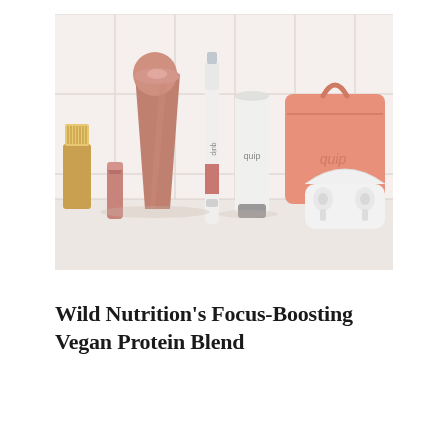[Figure (photo): Product flat-lay photograph showing Quip brand personal care and dental products arranged on white bathroom tiles: a rose-gold conical diffuser/speaker, a smaller rose-gold cylindrical device, a white electric toothbrush with rose-gold accent, a white Quip toothpaste tube, a coral/peach-colored zippered travel bag with 'quip' embossed logo, a pair of white wireless earbuds in an open case, and a natural wooden bristle brush with yellow handle visible on the left side.]
Wild Nutrition's Focus-Boosting Vegan Protein Blend